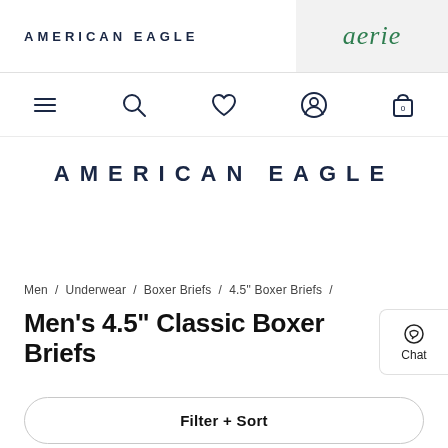AMERICAN EAGLE / aerie
[Figure (screenshot): Navigation bar with hamburger menu, search, heart/wishlist, account, and cart (0) icons]
AMERICAN EAGLE
Men / Underwear / Boxer Briefs / 4.5" Boxer Briefs /
Men's 4.5" Classic Boxer Briefs
Filter + Sort
19 items